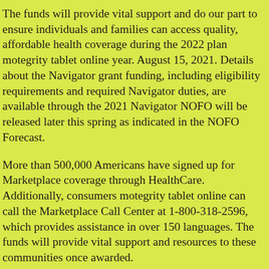The funds will provide vital support and do our part to ensure individuals and families can access quality, affordable health coverage during the 2022 plan motegrity tablet online year. August 15, 2021. Details about the Navigator grant funding, including eligibility requirements and required Navigator duties, are available through the 2021 Navigator NOFO will be released later this spring as indicated in the NOFO Forecast.
More than 500,000 Americans have signed up for Marketplace coverage through HealthCare. Additionally, consumers motegrity tablet online can call the Marketplace Call Center at 1-800-318-2596, which provides assistance in over 150 languages. The funds will provide vital support and resources to these communities once awarded.
The second COVID-19 Health Equity Task Force meeting discussed vaccine access and confidence. This is primarily due